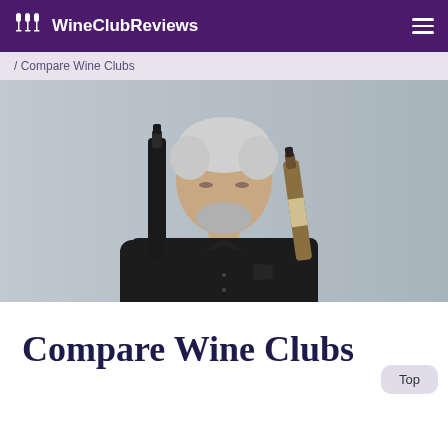WineClubReviews
/ Compare Wine Clubs
[Figure (photo): A middle-aged man with grey hair and beard wearing a black chef's jacket, holding two wine bottles and examining them against a grey background.]
Compare Wine Clubs